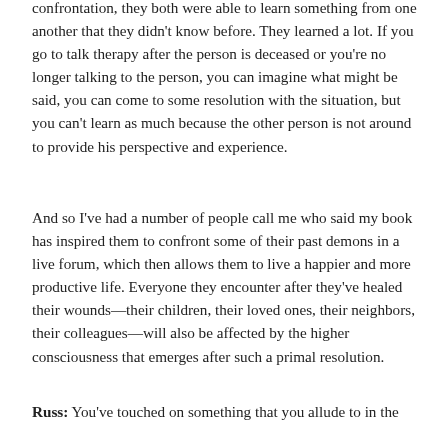confrontation, they both were able to learn something from one another that they didn't know before. They learned a lot. If you go to talk therapy after the person is deceased or you're no longer talking to the person, you can imagine what might be said, you can come to some resolution with the situation, but you can't learn as much because the other person is not around to provide his perspective and experience.
And so I've had a number of people call me who said my book has inspired them to confront some of their past demons in a live forum, which then allows them to live a happier and more productive life. Everyone they encounter after they've healed their wounds—their children, their loved ones, their neighbors, their colleagues—will also be affected by the higher consciousness that emerges after such a primal resolution.
Russ: You've touched on something that you allude to in the